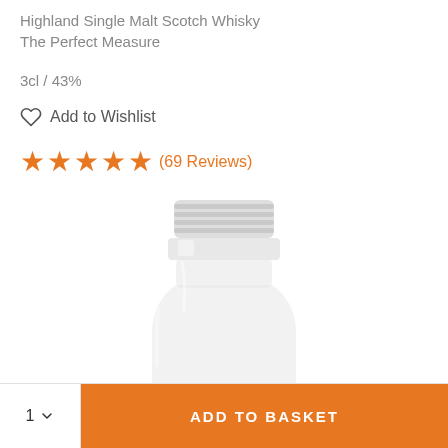Highland Single Malt Scotch Whisky
The Perfect Measure
3cl / 43%
Add to Wishlist
★★★★★ (69 Reviews)
[Figure (photo): Close-up top view of a small clear glass whisky bottle with screw cap and amber liquid visible at bottom]
1  ADD TO BASKET